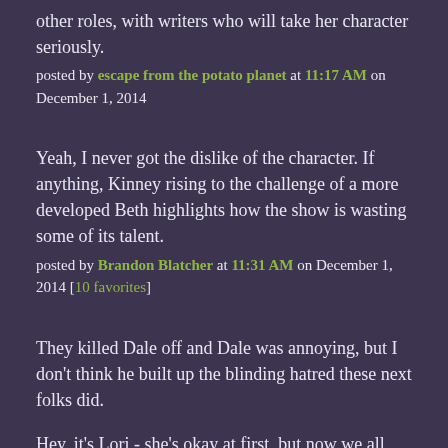other roles, with writers who will take her character seriously.
posted by escape from the potato planet at 11:17 AM on December 1, 2014
Yeah, I never got the dislike of the character. If anything, Kinney rising to the challenge of a more developed Beth highlights how the show is wasting some of its talent.
posted by Brandon Blatcher at 11:31 AM on December 1, 2014 [10 favorites]
They killed Dale off and Dale was annoying, but I don't think he built up the blinding hatred these next folks did.
Hey, it's Lori - she's okay at first, but now we all hate Lori. Kirkman kills off Lori.
Hey, it's Andrea - she's okay at first, but now we all hate